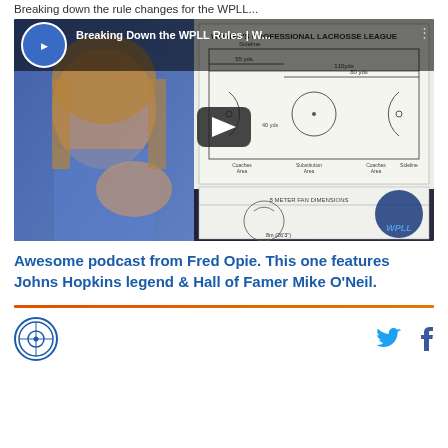Breaking down the rule changes for the WPLL...
[Figure (screenshot): YouTube video thumbnail showing a woman in a blue sweater discussing WPLL rules, with a lacrosse field diagram visible. Video title: Breaking Down the WPLL Rules | W...]
Awesome podcast from Fred Opie. This one features Johns Hopkins legend & Hall of Famer Mike O'Neil.
Lacrosse organization logo, Twitter icon, Facebook icon